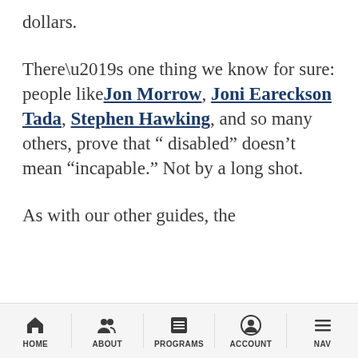dollars.
There’s one thing we know for sure: people like Jon Morrow, Joni Eareckson Tada, Stephen Hawking, and so many others, prove that “disabled” doesn’t mean “incapable.” Not by a long shot.
As with our other guides, the
HOME | ABOUT | PROGRAMS | ACCOUNT | NAV